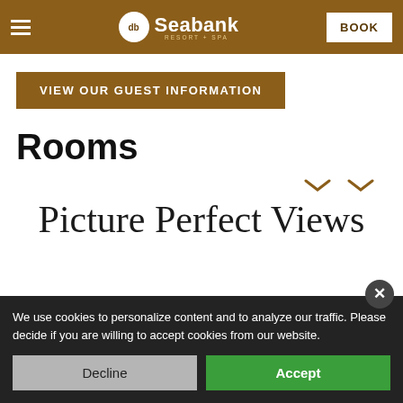db Seabank RESORT + SPA — BOOK
VIEW OUR GUEST INFORMATION
Rooms
Picture Perfect Views
We use cookies to personalize content and to analyze our traffic. Please decide if you are willing to accept cookies from our website.